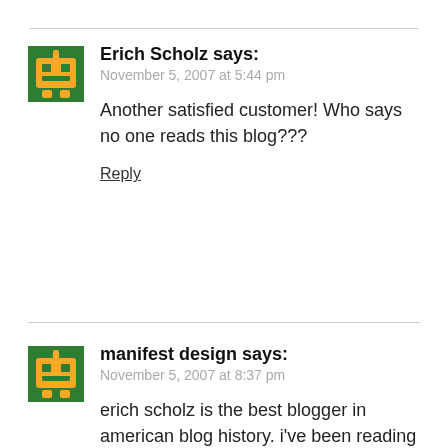Erich Scholz says:
November 5, 2007 at 5:44 pm
Another satisfied customer! Who says no one reads this blog???
Reply
manifest design says:
November 5, 2007 at 8:37 pm
erich scholz is the best blogger in american blog history. i've been reading his blog for only a day and it has LITERALLY changed my life. erich is the next best thing